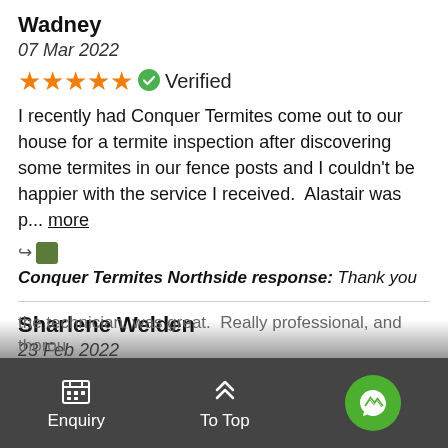Wadney
07 Mar 2022
★★★★★ ✓ Verified
I recently had Conquer Termites come out to our house for a termite inspection after discovering some termites in our fence posts and I couldn't be happier with the service I received.  Alastair was p... more
↪ 🟩 Conquer Termites Northside response: Thank you
Sharlene Welden
23 Feb 2022
★★★★★ ✓ Verified
Can't fault Conquer's service at all!   Had a very quick response to an on-line request for an inspection.  Joel, the technician, was great.  Really professional, and thorou
Enquiry   To Top